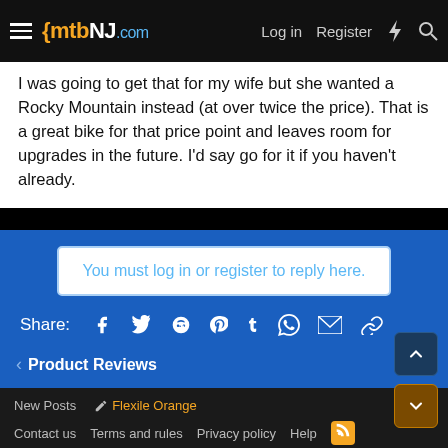mtbNJ.com  Log in  Register
I was going to get that for my wife but she wanted a Rocky Mountain instead (at over twice the price). That is a great bike for that price point and leaves room for upgrades in the future. I'd say go for it if you haven't already.
You must log in or register to reply here.
Share:
Product Reviews
New Posts  Flexile Orange  Contact us  Terms and rules  Privacy policy  Help